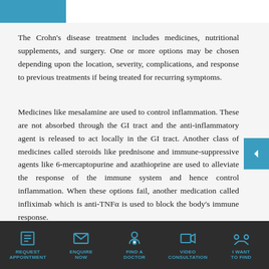The Crohn's disease treatment includes medicines, nutritional supplements, and surgery. One or more options may be chosen depending upon the location, severity, complications, and response to previous treatments if being treated for recurring symptoms.
Medicines like mesalamine are used to control inflammation. These are not absorbed through the GI tract and the anti-inflammatory agent is released to act locally in the GI tract. Another class of medicines called steroids like prednisone and immune-suppressive agents like 6-mercaptopurine and azathioprine are used to alleviate the response of the immune system and hence control inflammation. When these options fail, another medication called infliximab which is anti-TNFα is used to block the body's immune response.
REQUEST APPOINTMENT | ENQUIRE NOW | FIND A DOCTOR | VIDEO CONSULTATION | I WANT TO FIND